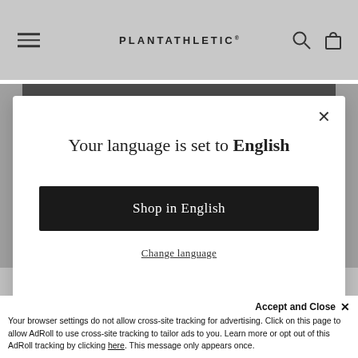PLANTATHLETIC®
Your language is set to English
Shop in English
Change language
SHOP NOW
Accept and Close ✕ Your browser settings do not allow cross-site tracking for advertising. Click on this page to allow AdRoll to use cross-site tracking to tailor ads to you. Learn more or opt out of this AdRoll tracking by clicking here. This message only appears once.